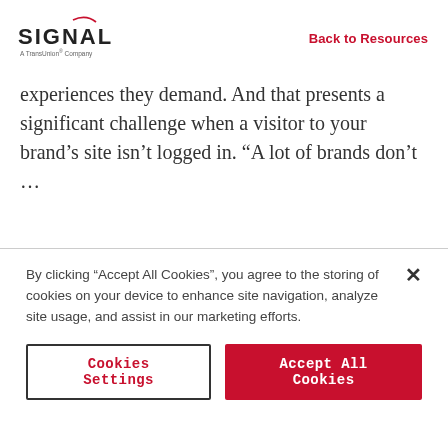SIGNAL A TransUnion Company | Back to Resources
experiences they demand. And that presents a significant challenge when a visitor to your brand’s site isn’t logged in. “A lot of brands don’t …
By clicking “Accept All Cookies”, you agree to the storing of cookies on your device to enhance site navigation, analyze site usage, and assist in our marketing efforts.
Cookies Settings | Accept All Cookies